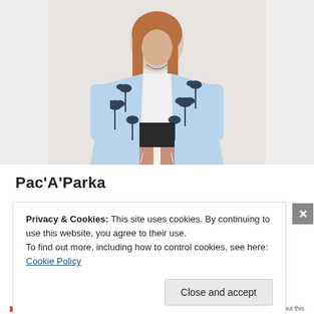[Figure (photo): A woman wearing a light blue and black palm tree print parka/jacket over a white top with dark shorts. She has long reddish-brown hair and wears a necklace. The background is light/white.]
Pac'A'Parka
Privacy & Cookies: This site uses cookies. By continuing to use this website, you agree to their use.
To find out more, including how to control cookies, see here: Cookie Policy
Close and accept